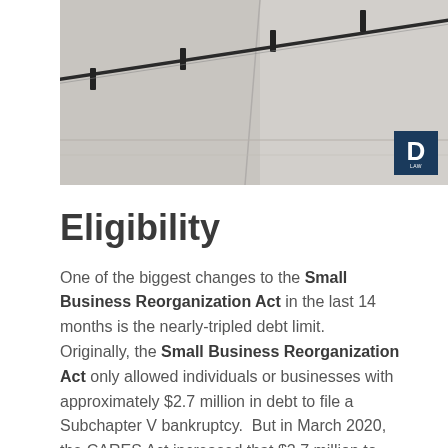[Figure (photo): Photo of a concrete staircase with a dark metal handrail, viewed from below at an angle. A logo with a bold letter D appears in the bottom-right corner of the image.]
Eligibility
One of the biggest changes to the Small Business Reorganization Act in the last 14 months is the nearly-tripled debt limit.  Originally, the Small Business Reorganization Act only allowed individuals or businesses with approximately $2.7 million in debt to file a Subchapter V bankruptcy.  But in March 2020, the CARES Act increased that $2.7 million to $7.5 million.  And just a few weeks ago, the Covid-19